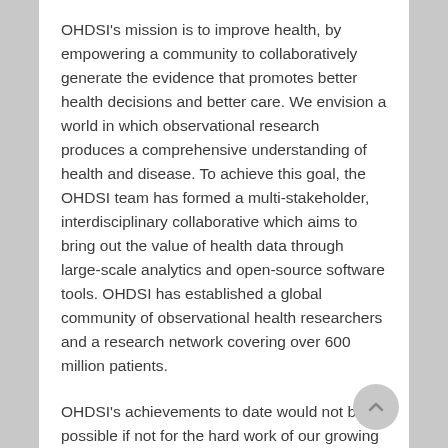OHDSI's mission is to improve health, by empowering a community to collaboratively generate the evidence that promotes better health decisions and better care. We envision a world in which observational research produces a comprehensive understanding of health and disease. To achieve this goal, the OHDSI team has formed a multi-stakeholder, interdisciplinary collaborative which aims to bring out the value of health data through large-scale analytics and open-source software tools. OHDSI has established a global community of observational health researchers and a research network covering over 600 million patients.
OHDSI's achievements to date would not be possible if not for the hard work of our growing community members. Our annual collaborator showcase provides collaborators the opportunity to showcase their tremendous work.
Once again we'll be inviting collaborators to participate in